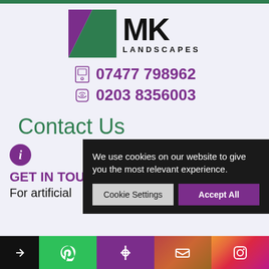[Figure (logo): MK Landscapes logo with purple and green triangular icon and bold MK LANDSCAPES text]
07477 798962
0203 8356003
Contact Us
GET IN TOU[CH]
For artificial [grass...]
We use cookies on our website to give you the most relevant experience.